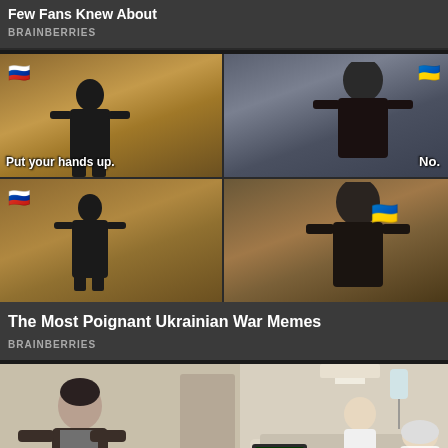Few Fans Knew About
BRAINBERRIES
[Figure (photo): Four-panel meme with movie stills. Top-left: man in desert with Russian flag emoji, caption 'Put your hands up.' Top-right: older man with Ukrainian flag emoji, caption 'No.' Bottom-left: same man as top-left with Russian flag. Bottom-right: same older man with Ukrainian flag emoji covering eyes.]
The Most Poignant Ukrainian War Memes
BRAINBERRIES
[Figure (photo): Hospital scene with a young man in a leather jacket standing and a nurse or doctor attending to a patient in a hospital bed.]